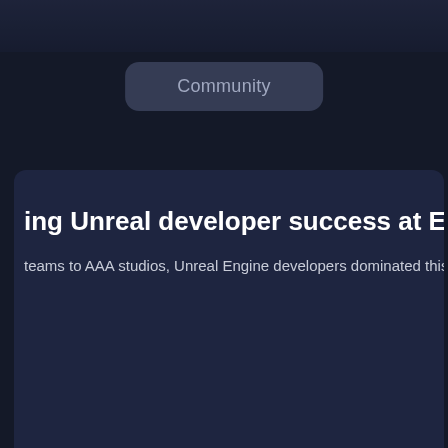Community
ing Unreal developer success at E3 2019
teams to AAA studios, Unreal Engine developers dominated this y
RE